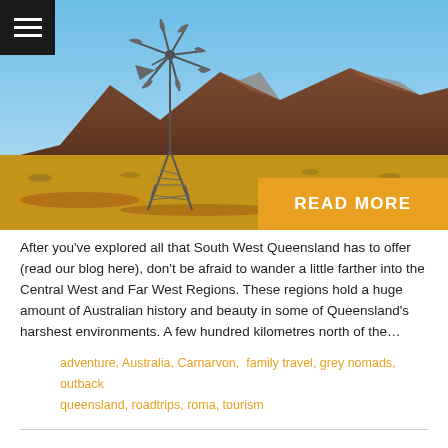[Figure (photo): Australian outback landscape with windmill in foreground, red desert plains, mountain range in background under blue sky. Golden 'READ MORE' button overlay in bottom right corner.]
After you've explored all that South West Queensland has to offer (read our blog here), don't be afraid to wander a little farther into the Central West and Far West Regions. These regions hold a huge amount of Australian history and beauty in some of Queensland's harshest environments. A few hundred kilometres north of the…
adventure, Australia, Carnarvon, family travel, grey nomads, outback queensland, roadtrips, roma, tourism